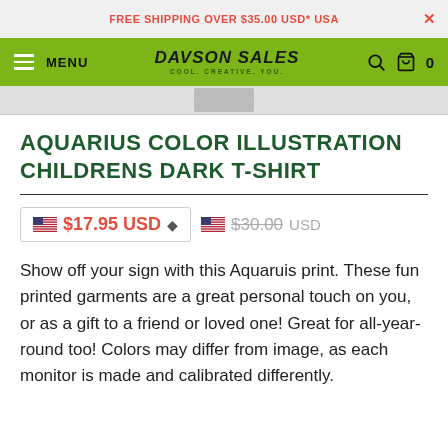FREE SHIPPING OVER $35.00 USD* USA
[Figure (screenshot): Davson Sales website navigation bar with green background, hamburger menu, MENU text, Davson Sales logo, search icon, cart icon with 0]
AQUARIUS COLOR ILLUSTRATION CHILDRENS DARK T-SHIRT
$17.95 USD  $30.00 USD
Show off your sign with this Aquaruis print. These fun printed garments are a great personal touch on you, or as a gift to a friend or loved one! Great for all-year-round too! Colors may differ from image, as each monitor is made and calibrated differently.